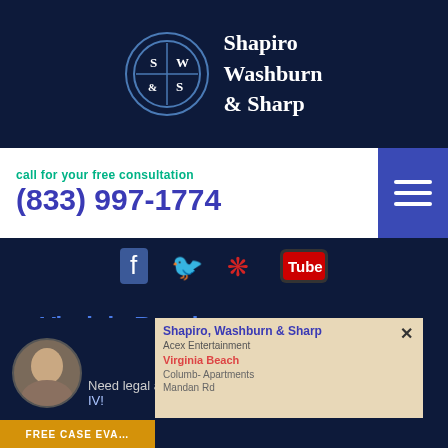[Figure (logo): Shapiro Washburn & Sharp law firm logo - circular emblem with S|W and &|S in quadrants, with firm name text to the right]
call for your free consultation
(833) 997-1774
[Figure (illustration): Social media icons: Facebook, Twitter, Yelp, YouTube on dark navy background]
Virginia Beach Office
4705 Columbus Street #304
Virginia Beach, VA 23462
phone (757) 460-7776
[Figure (photo): Circular avatar photo of a male attorney in a suit]
Need legal assistance? Get Freidant IV!
[Figure (map): Google Maps snippet showing location of Shapiro, Washburn & Sharp near Acex Entertainment, Virginia Beach, Columbus Apartments, Mandan Rd]
FREE CASE EVALUATION